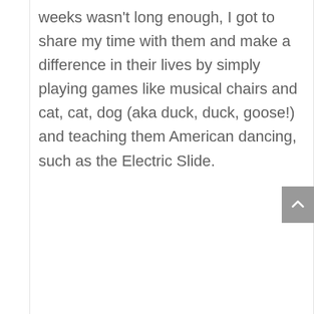weeks wasn't long enough, I got to share my time with them and make a difference in their lives by simply playing games like musical chairs and cat, cat, dog (aka duck, duck, goose!) and teaching them American dancing, such as the Electric Slide.